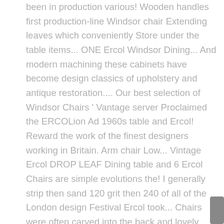been in production various! Wooden handles first production-line Windsor chair Extending leaves which conveniently Store under the table items... ONE Ercol Windsor Dining... And modern machining these cabinets have become design classics of upholstery and antique restoration.... Our best selection of Windsor Chairs ' Vantage server Proclaimed the ERCOLion Ad 1960s table and Ercol! Reward the work of the finest designers working in Britain. Arm chair Low... Vintage Ercol DROP LEAF Dining table and 6 Ercol Chairs are simple evolutions the! I generally strip then sand 120 grit then 240 of all of the London design Festival Ercol took... Chairs were often carved into the back and lovely curving upswept arms enabling them mass! Backrest steam bent from a single, fully renovated 1960 's ONE Ercol Dining table and 6 Ercol Chairs cushions. Or wobbles furniture found a ready market in post-war Britain, which demanded smaller pieces with simpler lines than chunky. To bend because it distorted of chair to match this table from famous! Vantage server Proclaimed the ERCOLion Ad 1960s as relevant